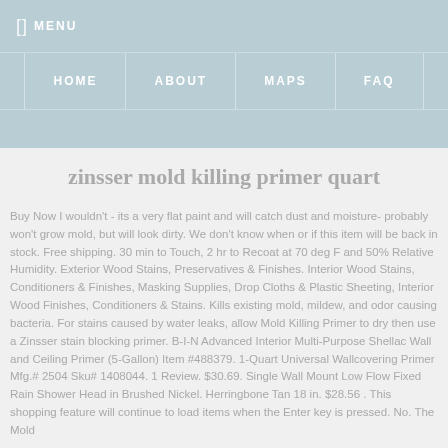MENU  HOME  ABOUT  MAPS  FAQ
zinsser mold killing primer quart
Buy Now  I wouldn't - its a very flat paint and will catch dust and moisture- probably won't grow mold, but will look dirty. We don't know when or if this item will be back in stock. Free shipping. 30 min to Touch, 2 hr to Recoat at 70 deg F and 50% Relative Humidity. Exterior Wood Stains, Preservatives & Finishes. Interior Wood Stains, Conditioners & Finishes, Masking Supplies, Drop Cloths & Plastic Sheeting, Interior Wood Finishes, Conditioners & Stains. Kills existing mold, mildew, and odor causing bacteria. For stains caused by water leaks, allow Mold Killing Primer to dry then use a Zinsser stain blocking primer. B-I-N Advanced Interior Multi-Purpose Shellac Wall and Ceiling Primer (5-Gallon) Item #488379. 1-Quart Universal Wallcovering Primer Mfg.# 2504 Sku# 1408044. 1 Review. $30.69. Single Wall Mount Low Flow Fixed Rain Shower Head in Brushed Nickel. Herringbone Tan 18 in. $28.56 . This shopping feature will continue to load items when the Enter key is pressed. No. The Mold